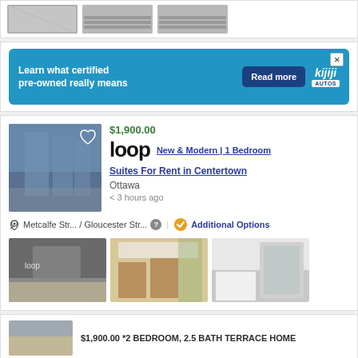[Figure (screenshot): Three thumbnail images of apartment/flooring photos at top of page]
[Figure (infographic): Kijiji Autos advertisement banner: 'Learn what certified pre-owned really means' with Read more button and Kijiji Autos logo]
[Figure (screenshot): Apartment listing: $1,900.00, loop logo, New & Modern | 1 Bedroom, Suites For Rent in Centertown, Ottawa, < 3 hours ago, Metcalfe Str... / Gloucester Str..., Additional Options, three interior photos]
$1,900.00 *2 BEDROOM, 2.5 BATH TERRACE HOME